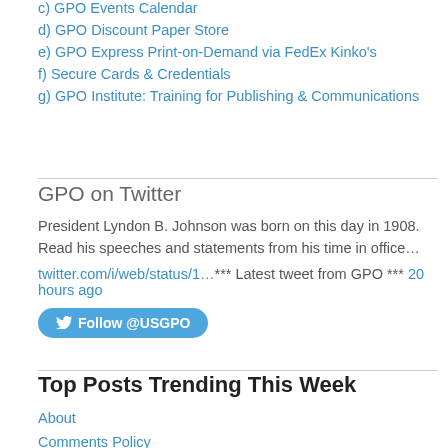c) GPO Events Calendar
d) GPO Discount Paper Store
e) GPO Express Print-on-Demand via FedEx Kinko's
f) Secure Cards & Credentials
g) GPO Institute: Training for Publishing & Communications
GPO on Twitter
President Lyndon B. Johnson was born on this day in 1908. Read his speeches and statements from his time in office…
twitter.com/i/web/status/1…*** Latest tweet from GPO *** 20 hours ago
Follow @USGPO
Top Posts Trending This Week
About
Comments Policy
National Wellness Month